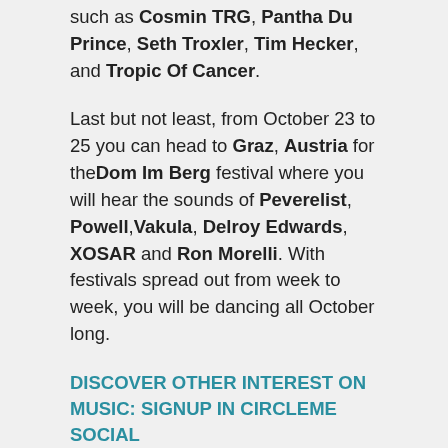such as Cosmin TRG, Pantha Du Prince, Seth Troxler, Tim Hecker, and Tropic Of Cancer.
Last but not least, from October 23 to 25 you can head to Graz, Austria for the Dom Im Berg festival where you will hear the sounds of Peverelist, Powell, Vakula, Delroy Edwards, XOSAR and Ron Morelli. With festivals spread out from week to week, you will be dancing all October long.
DISCOVER OTHER INTEREST ON MUSIC: SIGNUP IN CIRCLEME SOCIAL